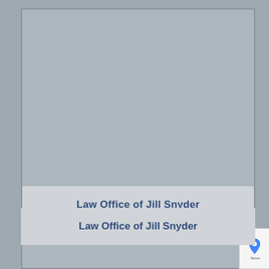[Figure (other): A Google Maps-style map card placeholder showing a gray area map view with the label 'Law Office of Jill Snyder' at the bottom on a light gray bar.]
Law Office of Jill Snyder
[Figure (other): A second Google Maps card section showing another gray map area, partially visible with a reCAPTCHA badge on the right side.]